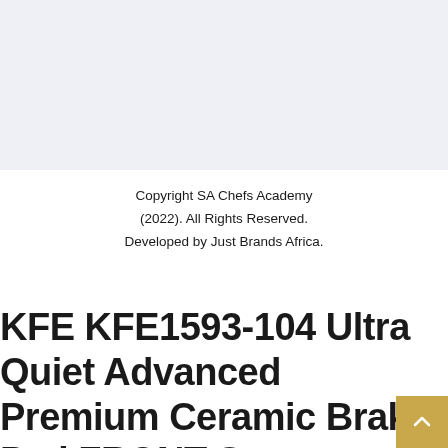[Figure (other): Light grayish-blue top band background area]
Copyright SA Chefs Academy (2022). All Rights Reserved. Developed by Just Brands Africa.
KFE KFE1593-104 Ultra Quiet Advanced Premium Ceramic Brake Pad FRONT Set Compatible With 2012-2017 Hyundai Accent; 2012-2017 KIA Rio